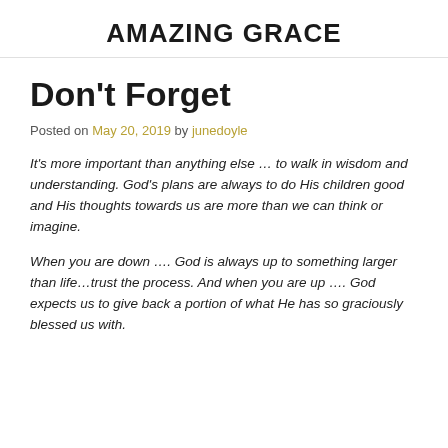AMAZING GRACE
Don't Forget
Posted on May 20, 2019 by junedoyle
It's more important than anything else … to walk in wisdom and understanding. God's plans are always to do His children good and His thoughts towards us are more than we can think or imagine.
When you are down …. God is always up to something larger than life…trust the process. And when you are up …. God expects us to give back a portion of what He has so graciously blessed us with.